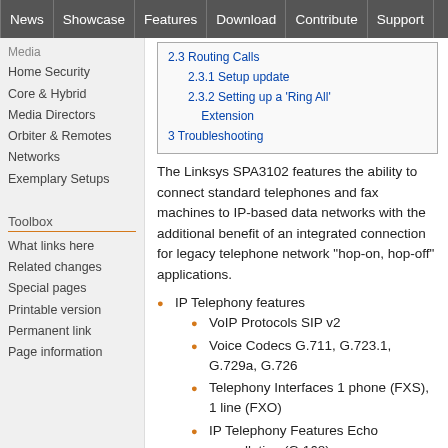News | Showcase | Features | Download | Contribute | Support
Media
Home Security
Core & Hybrid
Media Directors
Orbiter & Remotes
Networks
Exemplary Setups
Toolbox
What links here
Related changes
Special pages
Printable version
Permanent link
Page information
| 2.3 Routing Calls |
| 2.3.1 Setup update |
| 2.3.2 Setting up a 'Ring All' Extension |
| 3 Troubleshooting |
The Linksys SPA3102 features the ability to connect standard telephones and fax machines to IP-based data networks with the additional benefit of an integrated connection for legacy telephone network "hop-on, hop-off" applications.
IP Telephony features
VoIP Protocols SIP v2
Voice Codecs G.711, G.723.1, G.729a, G.726
Telephony Interfaces 1 phone (FXS), 1 line (FXO)
IP Telephony Features Echo cancellation (G.168)